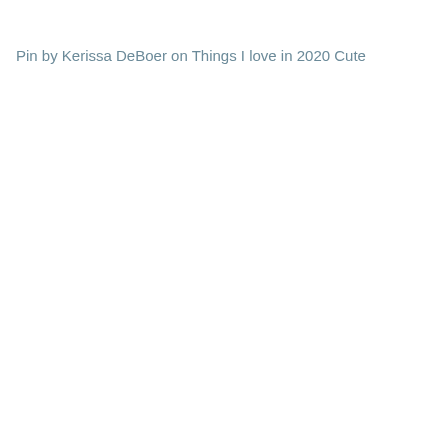Pin by Kerissa DeBoer on Things I love in 2020 Cute